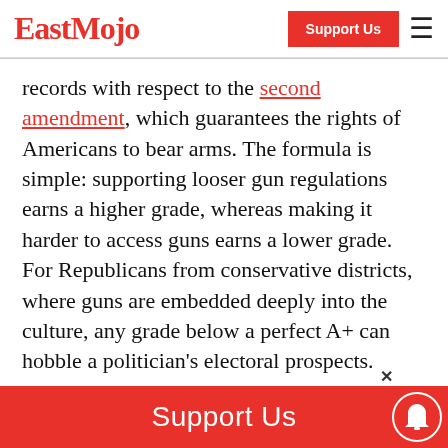EastMojo | Support Us
records with respect to the second amendment, which guarantees the rights of Americans to bear arms. The formula is simple: supporting looser gun regulations earns a higher grade, whereas making it harder to access guns earns a lower grade. For Republicans from conservative districts, where guns are embedded deeply into the culture, any grade below a perfect A+ can hobble a politician's electoral prospects.
Support Us